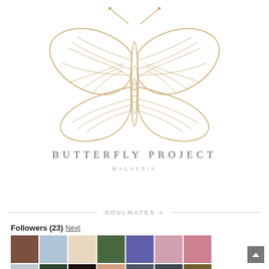[Figure (logo): Butterfly line-art illustration logo in golden/tan color, detailed wing etching style]
BUTTERFLY PROJECT
MALAYSIA
SOULMATES >
Followers (23) Next
[Figure (photo): Grid of 21 follower avatar profile photos in 3 rows of 7]